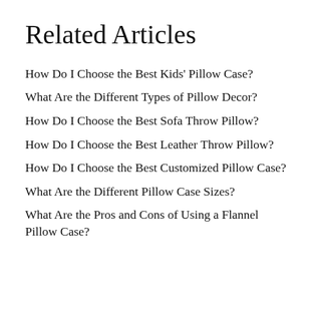Related Articles
How Do I Choose the Best Kids' Pillow Case?
What Are the Different Types of Pillow Decor?
How Do I Choose the Best Sofa Throw Pillow?
How Do I Choose the Best Leather Throw Pillow?
How Do I Choose the Best Customized Pillow Case?
What Are the Different Pillow Case Sizes?
What Are the Pros and Cons of Using a Flannel Pillow Case?